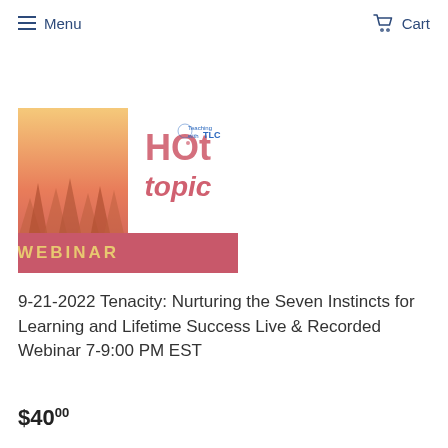Menu   Cart
[Figure (illustration): Hot Topic Webinar logo with forest/fire background, featuring 'HOt topic WEBINAR' text in pink/red and the TLC (Teaching with TLC) logo]
9-21-2022 Tenacity: Nurturing the Seven Instincts for Learning and Lifetime Success Live & Recorded Webinar 7-9:00 PM EST
$40.00